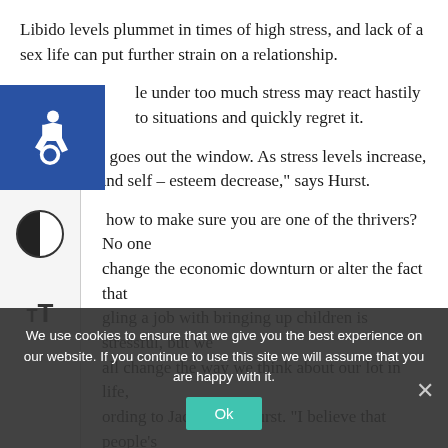Libido levels plummet in times of high stress, and lack of a sex life can put further strain on a relationship.
People under too much stress may react hastily to situations and quickly regret it.
“Confidence goes out the window. As stress levels increase, confidence and self – esteem decrease,” says Hurst.
So how to make sure you are one of the thrivers? No one can change the economic downturn or alter the fact that juggling a job with bringing up children is stressful, but we can all change the way we think about our lot in life, according to Jacqueline Hurst. “I believe that people’s thoughts rule everything and I am always challenging my clients… in five years time? Is this a supreme situation like the Blitz when Londoners faced…? Try and get a sense of perspective.
We use cookies to ensure that we give you the best experience on our website. If you continue to use this site we will assume that you are happy with it.